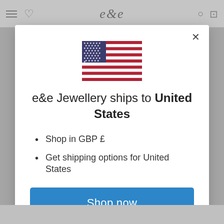[Figure (screenshot): Website navigation bar with hamburger menu, heart icon, e&e jewellery logo, search and cart icons]
[Figure (illustration): US flag emoji/icon centered in the modal]
e&e Jewellery ships to United States
Shop in GBP £
Get shipping options for United States
Shop now
Change shipping country